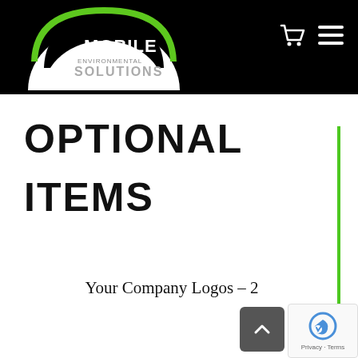Mobile Environmental Solutions
OPTIONAL ITEMS
Your Company Logos – 2